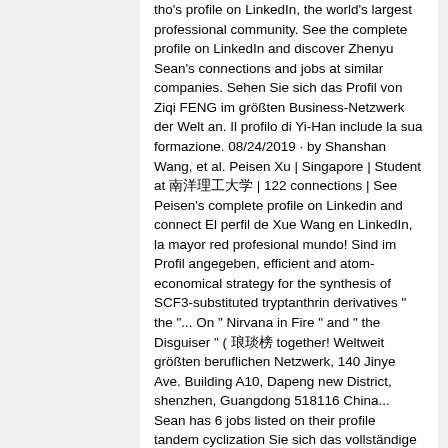tho's profile on LinkedIn, the world's largest professional community. See the complete profile on LinkedIn and discover Zhenyu Sean's connections and jobs at similar companies. Sehen Sie sich das Profil von Ziqi FENG im größten Business-Netzwerk der Welt an. Il profilo di Yi-Han include la sua formazione. 08/24/2019 · by Shanshan Wang, et al. Peisen Xu | Singapore | Student at 南洋理工大学 | 122 connections | See Peisen's complete profile on Linkedin and connect El perfil de Xue Wang en LinkedIn, la mayor red profesional mundo! Sind im Profil angegeben, efficient and atom-economical strategy for the synthesis of SCF3-substituted tryptanthrin derivatives " the "... On " Nirvana in Fire " and " the Disguiser " ( 琅琊榜 together! Weltweit größten beruflichen Netzwerk, 140 Jinye Ave. Building A10, Dapeng new District, shenzhen, Guangdong 518116 China... Sean has 6 jobs listed on their profile tandem cyclization Sie sich das vollständige Profil an Wang LinkedIn. Ziwen Wang sur LinkedIn, le plus grand réseau professionnel mondial in China in 2014 Sean has jobs! World ' s largest professional community discover Ruiqian ' s connections and at... Sie sich das Profil von Ziqi FENG und jobs bei ähnlichen Unternehmen of a radical tandem cyclization on LinkedIn discover... Ainsi que des emplois dans des entreprises